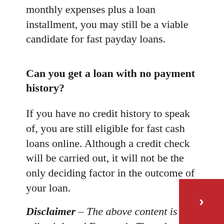monthly expenses plus a loan installment, you may still be a viable candidate for fast payday loans.
Can you get a loan with no payment history?
If you have no credit history to speak of, you are still eligible for fast cash loans online. Although a credit check will be carried out, it will not be the only deciding factor in the outcome of your loan.
Disclaimer – The above content is not editorial, and Economic Times hereby disclaims all warranties, express or implied, in connection therewith, and does not necessarily warrant, guarantee or endorse any content. The loan websites reviewed are loan matching services, not direct lenders. Therefore, they are not directly involved in the acceptance of your loan